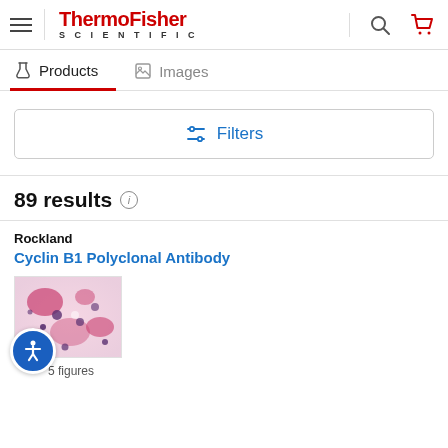[Figure (screenshot): ThermoFisher Scientific website header with hamburger menu, logo, search icon, and cart icon]
Products   Images
[Figure (screenshot): Filters button with sliders icon]
89 results
Rockland
Cyclin B1 Polyclonal Antibody
[Figure (photo): Microscopy image showing pink and purple stained cells]
5 figures